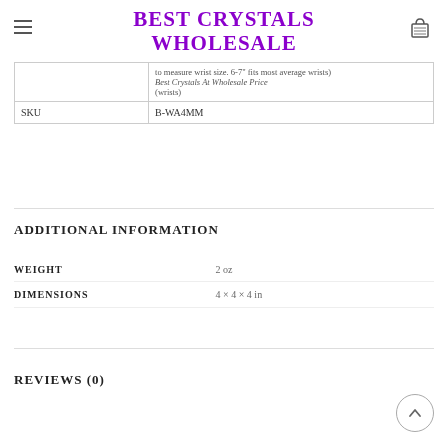BEST CRYSTALS WHOLESALE
|  | to measure wrist size. 6-7" fits most average wrists)
Best Crystals At Wholesale Price |
| SKU | B-WA4MM |
ADDITIONAL INFORMATION
| WEIGHT | DIMENSIONS |
| --- | --- |
| WEIGHT | 2 oz |
| DIMENSIONS | 4 × 4 × 4 in |
REVIEWS (0)